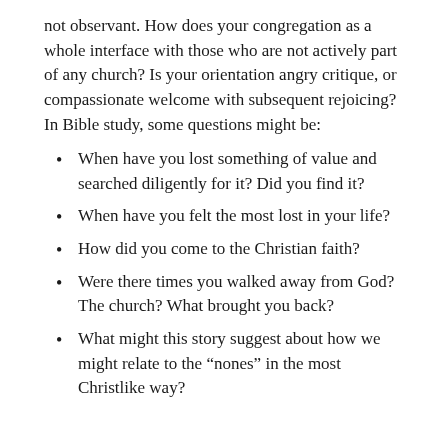not observant. How does your congregation as a whole interface with those who are not actively part of any church? Is your orientation angry critique, or compassionate welcome with subsequent rejoicing? In Bible study, some questions might be:
When have you lost something of value and searched diligently for it? Did you find it?
When have you felt the most lost in your life?
How did you come to the Christian faith?
Were there times you walked away from God? The church? What brought you back?
What might this story suggest about how we might relate to the “nones” in the most Christlike way?